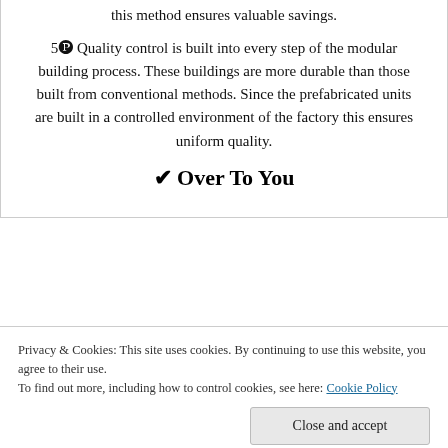this method ensures valuable savings.
5️ Quality control is built into every step of the modular building process. These buildings are more durable than those built from conventional methods. Since the prefabricated units are built in a controlled environment of the factory this ensures uniform quality.
✔ Over To You
Privacy & Cookies: This site uses cookies. By continuing to use this website, you agree to their use.
To find out more, including how to control cookies, see here: Cookie Policy
run side by side.